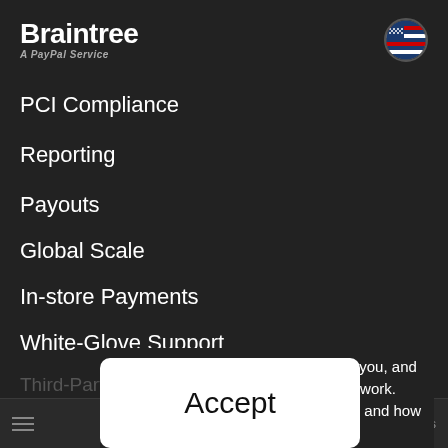Braintree A PayPal Service
PCI Compliance
Reporting
Payouts
Global Scale
In-store Payments
White-Glove Support
Third-Party Integrations
Cookies help customize Braintree for you, and some are necessary to make our site work. Learn more about the cookies we use and how you can manage them.
Accept
Payments  Our Merchants  Contact Sales